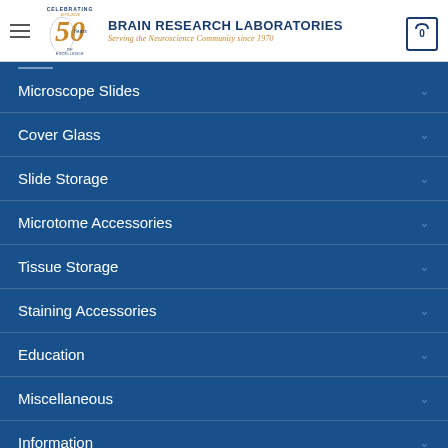Brain Research Laboratories — Serving the Neuroscience Community since 1970
Microscope Slides
Cover Glass
Slide Storage
Microtome Accessories
Tissue Storage
Staining Accessories
Education
Miscellaneous
Information